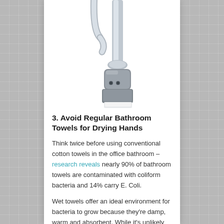[Figure (photo): A chrome automatic sensor faucet (touchless faucet) photographed against a white background, showing the tall spout and sensor-equipped base unit.]
3. Avoid Regular Bathroom Towels for Drying Hands
Think twice before using conventional cotton towels in the office bathroom – research reveals nearly 90% of bathroom towels are contaminated with coliform bacteria and 14% carry E. Coli.
Wet towels offer an ideal environment for bacteria to grow because they're damp, warm and absorbent. While it's unlikely staff will be